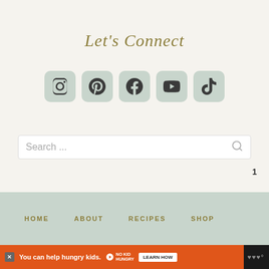Let's Connect
[Figure (infographic): Row of 5 social media icon buttons (Instagram, Pinterest, Facebook, YouTube, TikTok) with sage green rounded square backgrounds]
[Figure (screenshot): Search input box with placeholder text 'Search ...' and a magnifier icon on the right]
[Figure (infographic): Floating action buttons: blue heart button, count '1', blue share button]
HOME   ABOUT   RECIPES   SHOP
[Figure (infographic): Orange advertisement bar: 'You can help hungry kids.' with No Kid Hungry logo and LEARN HOW button, close X, and Mediavine logo on black right side]